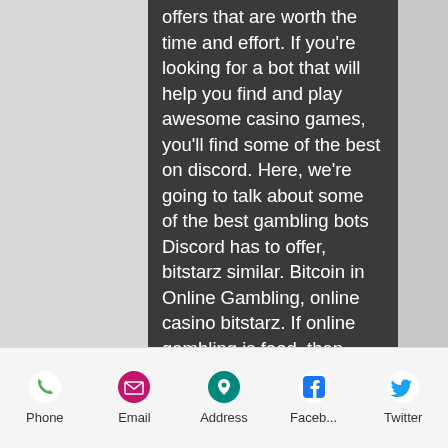offers that are worth the time and effort. If you're looking for a bot that will help you find and play awesome casino games, you'll find some of the best on discord. Here, we're going to talk about some of the best gambling bots Discord has to offer, bitstarz similar. Bitcoin in Online Gambling, online casino bitstarz. If online gambling is food, then bitcoin is a spice! If casino isn't your thing, check out our csgo gambling, betting, poker and lottery guides, play bitstarz. For those looking for this guide in other languages, feel free to check out our French, German, Swedish and Japanese page. It almost seems too good to be true ' but that's the thing, nearly every major online casino offers no deposit bonuses. What players receive as a no deposit bonus varies from one casino to the next ' and rarely are the
Phone  Email  Address  Faceb...  Twitter